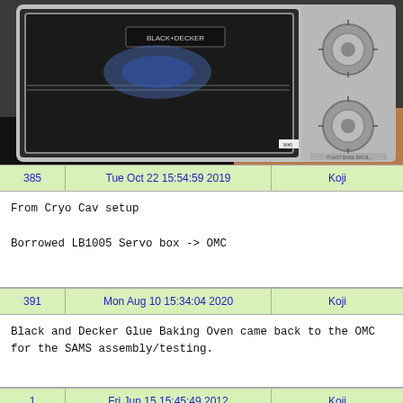[Figure (photo): Photo of a Black and Decker toaster/glue baking oven on a counter, stainless steel with glass door and control knobs visible.]
| 385 | Tue Oct 22 15:54:59 2019 | Koji |  |
| --- | --- | --- | --- |
From Cryo Cav setup

Borrowed LB1005 Servo box -> OMC
| 391 | Mon Aug 10 15:34:04 2020 | Koji |  |
| --- | --- | --- | --- |
Black and Decker Glue Baking Oven came back to the OMC for the SAMS assembly/testing.
| 1 | Fri Jun 15 15:45:49 2012 | Koji |  |
| --- | --- | --- | --- |
LIGO Document G1200683-v1: